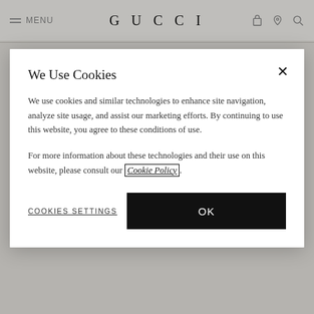[Figure (screenshot): Gucci website navigation bar with hamburger menu, MENU text, Gucci logo centered, and icons for bag, location, and search on the right]
We Use Cookies
We use cookies and similar technologies to enhance site navigation, analyze site usage, and assist our marketing efforts. By continuing to use this website, you agree to these conditions of use.
For more information about these technologies and their use on this website, please consult our Cookie Policy.
COOKIES SETTINGS
OK
PAYMENT OPTIONS
Gucci accepts the following forms of payment for online purchases:
Visa
American Express
MasterCard
Paypal